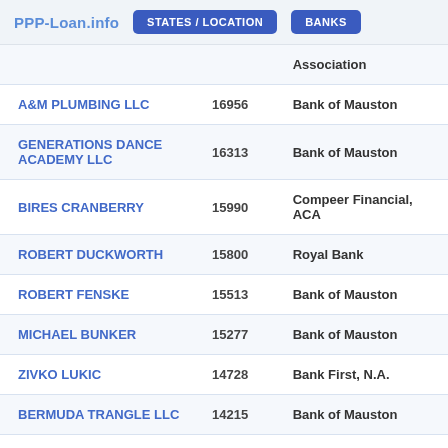PPP-Loan.info  STATES / LOCATION  BANKS
| Name | Amount | Bank |
| --- | --- | --- |
|  |  | Association |
| A&M PLUMBING LLC | 16956 | Bank of Mauston |
| GENERATIONS DANCE ACADEMY LLC | 16313 | Bank of Mauston |
| BIRES CRANBERRY | 15990 | Compeer Financial, ACA |
| ROBERT DUCKWORTH | 15800 | Royal Bank |
| ROBERT FENSKE | 15513 | Bank of Mauston |
| MICHAEL BUNKER | 15277 | Bank of Mauston |
| ZIVKO LUKIC | 14728 | Bank First, N.A. |
| BERMUDA TRANGLE LLC | 14215 | Bank of Mauston |